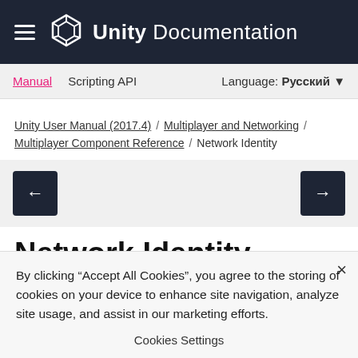Unity Documentation
Manual  Scripting API  Language: Русский
Unity User Manual (2017.4) / Multiplayer and Networking / Multiplayer Component Reference / Network Identity
Network Identity
By clicking "Accept All Cookies", you agree to the storing of cookies on your device to enhance site navigation, analyze site usage, and assist in our marketing efforts.
Cookies Settings